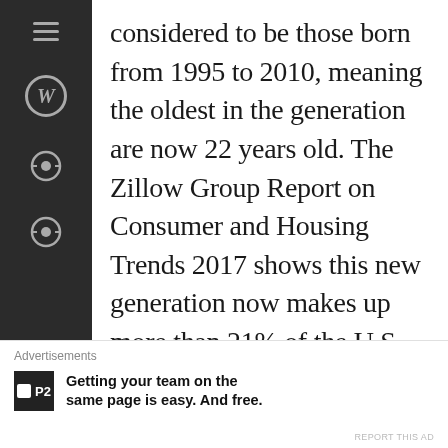considered to be those born from 1995 to 2010, meaning the oldest in the generation are now 22 years old. The Zillow Group Report on Consumer and Housing Trends 2017 shows this new generation now makes up more than 21% of the U.S. population, and is the most ethnically and racially diverse generation in our history. And they are beginning to enter the housing market
Advertisements
Getting your team on the same page is easy. And free.